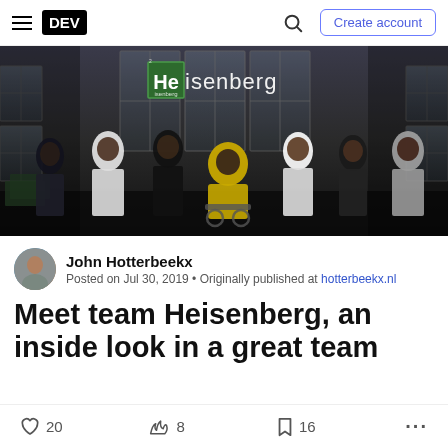DEV  Create account
[Figure (photo): Group photo of seven people posed in a dark industrial warehouse setting, styled after the Breaking Bad TV show. Text overlay reads 'Heisenberg' with a periodic table element box around 'He'. People are wearing various outfits including lab coats and a central figure in a yellow hazmat suit seated in a wheelchair.]
John Hotterbeekx
Posted on Jul 30, 2019 • Originally published at hotterbeekx.nl
Meet team Heisenberg, an inside look in a great team
♡ 20   🔥 8   🔖 16   •••